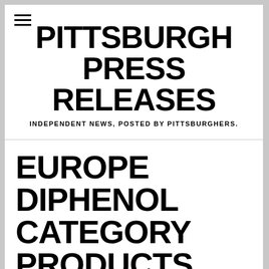PITTSBURGH PRESS RELEASES
INDEPENDENT NEWS, POSTED BY PITTSBURGHERS.
EUROPE DIPHENOL CATEGORY PRODUCTS MARKET 2022 LATEST